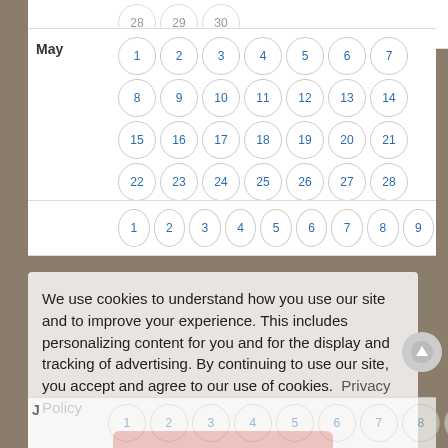[Figure (screenshot): A calendar view showing months with day numbers displayed in circular bordered buttons. May is labeled with days 1-31. A row of days 1-9 appears above and below. A cookie consent overlay covers the lower portion reading: 'We use cookies to understand how you use our site and to improve your experience. This includes personalizing content for you and for the display and tracking of advertising. By continuing to use our site, you accept and agree to our use of cookies. Privacy Policy' with a red 'Got it!' button.]
We use cookies to understand how you use our site and to improve your experience. This includes personalizing content for you and for the display and tracking of advertising. By continuing to use our site, you accept and agree to our use of cookies. Privacy Policy